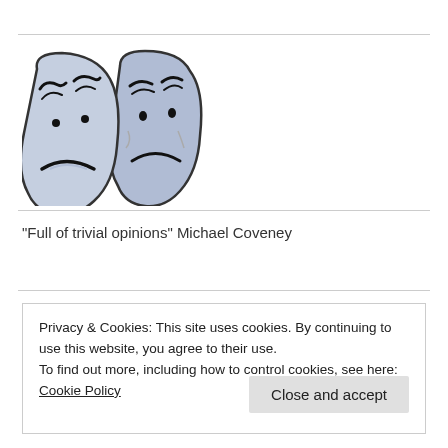[Figure (illustration): Two theatre/drama masks (comedy and tragedy) in blue-grey tones with black outlines, overlapping each other]
"Full of trivial opinions" Michael Coveney
Privacy & Cookies: This site uses cookies. By continuing to use this website, you agree to their use.
To find out more, including how to control cookies, see here: Cookie Policy
Close and accept